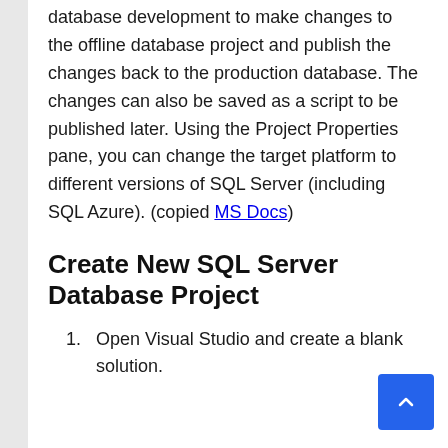database development to make changes to the offline database project and publish the changes back to the production database. The changes can also be saved as a script to be published later. Using the Project Properties pane, you can change the target platform to different versions of SQL Server (including SQL Azure). (copied MS Docs)
Create New SQL Server Database Project
Open Visual Studio and create a blank solution.